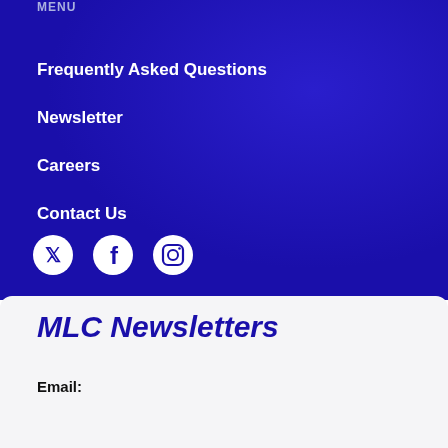MENU
Frequently Asked Questions
Newsletter
Careers
Contact Us
[Figure (illustration): Social media icons: Twitter, Facebook, Instagram — white circles on dark blue background]
MLC Newsletters
Email:
[Figure (screenshot): Email input text field (empty) with a grey back-to-top arrow button on the right]